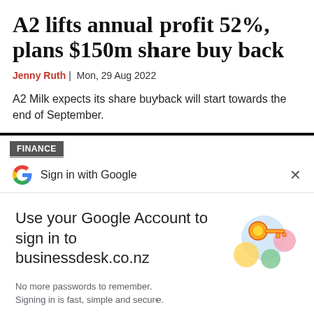A2 lifts annual profit 52%, plans $150m share buy back
Jenny Ruth | Mon, 29 Aug 2022
A2 Milk expects its share buyback will start towards the end of September.
FINANCE
Sign in with Google
Use your Google Account to sign in to businessdesk.co.nz
No more passwords to remember. Signing in is fast, simple and secure.
[Figure (illustration): Google key illustration with colorful circles and a golden key]
Continue